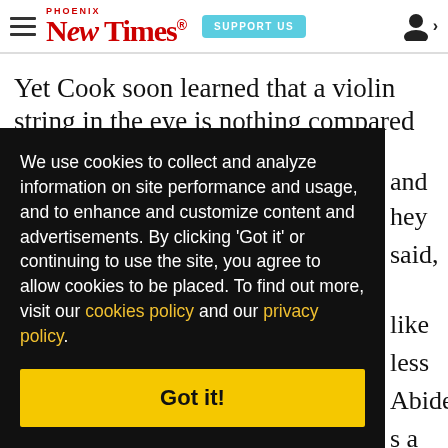Phoenix New Times — SUPPORT US — [user icon]
Yet Cook soon learned that a violin string in the eye is nothing compared to a human fist. "One
We use cookies to collect and analyze information on site performance and usage, and to enhance and customize content and advertisements. By clicking 'Got it' or continuing to use the site, you agree to allow cookies to be placed. To find out more, visit our cookies policy and our privacy policy.
Got it!